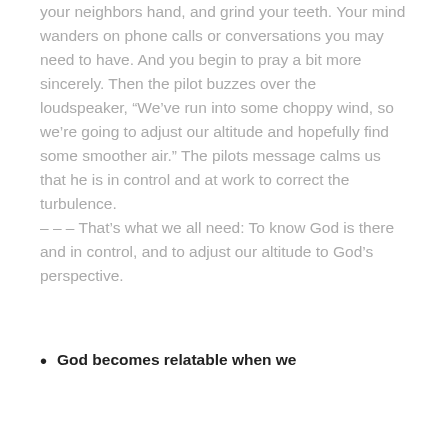your neighbors hand, and grind your teeth. Your mind wanders on phone calls or conversations you may need to have. And you begin to pray a bit more sincerely. Then the pilot buzzes over the loudspeaker, “We’ve run into some choppy wind, so we’re going to adjust our altitude and hopefully find some smoother air.” The pilots message calms us that he is in control and at work to correct the turbulence.
– – – That’s what we all need: To know God is there and in control, and to adjust our altitude to God’s perspective.
God becomes relatable when we